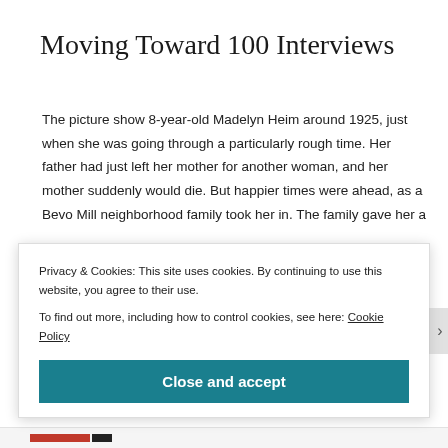Moving Toward 100 Interviews
The picture show 8-year-old Madelyn Heim around 1925, just when she was going through a particularly rough time. Her father had just left her mother for another woman, and her mother suddenly would die. But happier times were ahead, as a Bevo Mill neighborhood family took her in. The family gave her a
Privacy & Cookies: This site uses cookies. By continuing to use this website, you agree to their use.
To find out more, including how to control cookies, see here: Cookie Policy
Close and accept